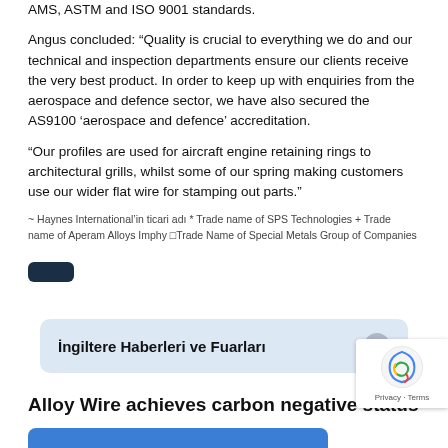AMS, ASTM and ISO 9001 standards.
Angus concluded: “Quality is crucial to everything we do and our technical and inspection departments ensure our clients receive the very best product. In order to keep up with enquiries from the aerospace and defence sector, we have also secured the AS9100 ‘aerospace and defence’ accreditation.
“Our profiles are used for aircraft engine retaining rings to architectural grills, whilst some of our spring making customers use our wider flat wire for stamping out parts.”
~ Haynes International’in ticari adı * Trade name of SPS Technologies + Trade name of Aperam Alloys Imphy □Trade Name of Special Metals Group of Companies
İngiltere Haberleri ve Fuarları
Alloy Wire achieves carbon negative status